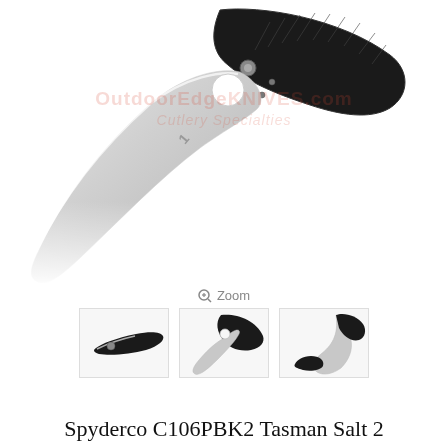[Figure (photo): Main product photo of a Spyderco Tasman Salt 2 folding knife with a curved hawkbill blade (silver), black FRN handle, and thumb hole opener. A partially visible watermark reads 'OutdoorEdgeKnives.com Cutlery Specialties' in the background.]
[Figure (photo): Three small thumbnail photos of the same knife from different angles: closed/folded view, open blade view, and a partial close-up of the blade tip.]
Spyderco C106PBK2 Tasman Salt 2